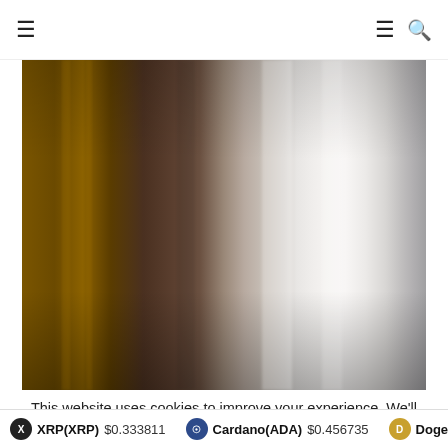Navigation bar with hamburger menu and search icon
[Figure (photo): A blurred abstract image showing vertical color bands transitioning from golden-brown on the left through dark brownish-gray in the center to light silver-white on the right, with subtle vertical streaks and a bokeh-like effect.]
This website uses cookies to improve your experience. We'll assume you're ok with this, but you can opt-out if you w
XRP(XRP) $0.333811   Cardano(ADA) $0.456735   Doge